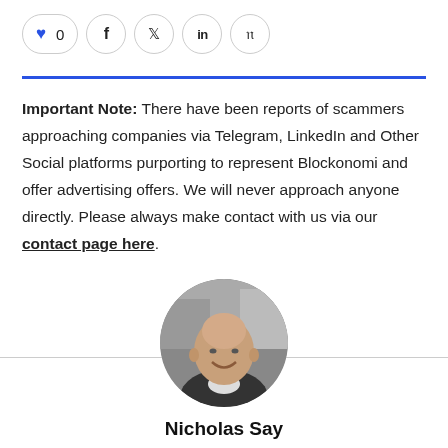[Figure (other): Social sharing bar with heart/like button showing 0, and icons for Facebook, Twitter, LinkedIn, Pinterest]
Important Note: There have been reports of scammers approaching companies via Telegram, LinkedIn and Other Social platforms purporting to represent Blockonomi and offer advertising offers. We will never approach anyone directly. Please always make contact with us via our contact page here.
[Figure (photo): Circular black and white headshot photo of Nicholas Say, a bald smiling man]
Nicholas Say